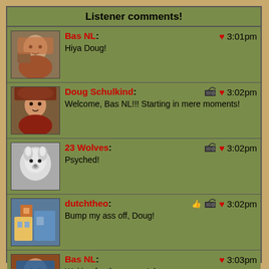Listener comments!
Bas NL: Hiya Doug! — 3:01pm
Doug Schulkind: Welcome, Bas NL!!! Starting in mere moments! — 3:02pm
23 Wolves: Psyched! — 3:02pm
dutchtheo: Bump my ass off, Doug! — 3:02pm
Bas NL: Waiting for the groove! ;) — 3:03pm
listener james from westwood: ::sneaks under velvet rope:: How do again, Doug and all! — 3:03pm
StringOFperils: Will this disco dancebar smell like beer-soaked indoor/outdoor carpet? — 3:03pm